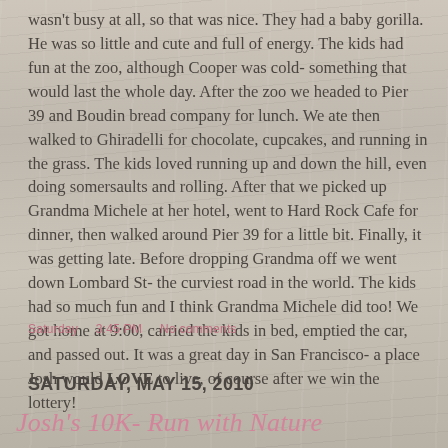wasn't busy at all, so that was nice. They had a baby gorilla. He was so little and cute and full of energy. The kids had fun at the zoo, although Cooper was cold- something that would last the whole day. After the zoo we headed to Pier 39 and Boudin bread company for lunch. We ate then walked to Ghiradelli for chocolate, cupcakes, and running in the grass. The kids loved running up and down the hill, even doing somersaults and rolling. After that we picked up Grandma Michele at her hotel, went to Hard Rock Cafe for dinner, then walked around Pier 39 for a little bit. Finally, it was getting late. Before dropping Grandma off we went down Lombard St- the curviest road in the world. The kids had so much fun and I think Grandma Michele did too! We got home at 9:00, carried the kids in bed, emptied the car, and passed out. It was a great day in San Francisco- a place Josh would LOVE to live, of course after we win the lottery!
Saturday   3:45 PM   No comments
SATURDAY, MAY 15, 2010
Josh's 10K- Run with Nature